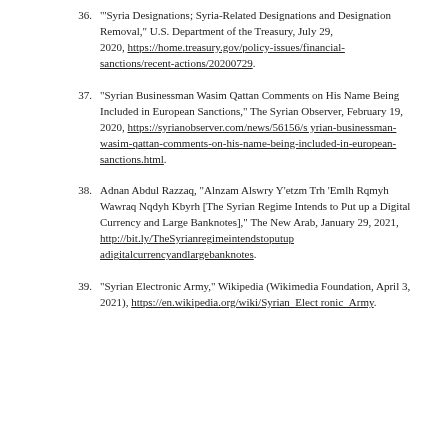36. "'Syria Designations; Syria-Related Designations and Designation Removal,' U.S. Department of the Treasury, July 29, 2020, https://home.treasury.gov/policy-issues/financial-sanctions/recent-actions/20200729.
37. "Syrian Businessman Wasim Qattan Comments on His Name Being Included in European Sanctions," The Syrian Observer, February 19, 2020, https://syrianobserver.com/news/56156/syrian-businessman-wasim-qattan-comments-on-his-name-being-included-in-european-sanctions.html.
38. Adnan Abdul Razzaq, "Alnzam Alswry Y'etzm Trh 'Emlh Rqmyh Wawraq Nqdyh Kbyrh [The Syrian Regime Intends to Put up a Digital Currency and Large Banknotes]," The New Arab, January 29, 2021, http://bit.ly/TheSyrianregimeintendstoputupadigitalcurrencyandlargebanknotes.
39. "Syrian Electronic Army," Wikipedia (Wikimedia Foundation, April 3, 2021), https://en.wikipedia.org/wiki/Syrian_Electronic_Army.